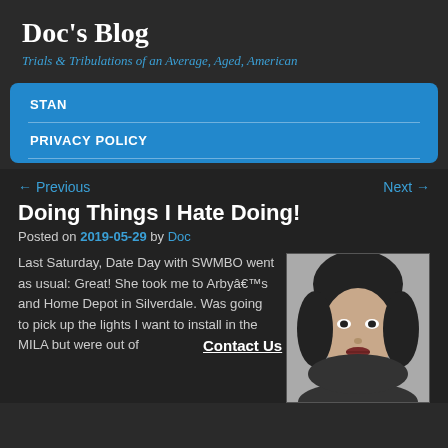Doc's Blog
Trials & Tribulations of an Average, Aged, American
STAN
PRIVACY POLICY
← Previous
Next →
Doing Things I Hate Doing!
Posted on 2019-05-29 by Doc
Last Saturday, Date Day with SWMBO went as usual: Great! She took me to Arbyâ€™s and Home Depot in Silverdale. Was going to pick up the lights I want to install in the MILA but were out of
[Figure (photo): Black and white portrait photo of a woman with dark hair and bangs]
Contact Us